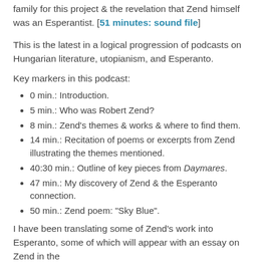family for this project & the revelation that Zend himself was an Esperantist. [51 minutes: sound file]
This is the latest in a logical progression of podcasts on Hungarian literature, utopianism, and Esperanto.
Key markers in this podcast:
0 min.: Introduction.
5 min.: Who was Robert Zend?
8 min.: Zend's themes & works & where to find them.
14 min.: Recitation of poems or excerpts from Zend illustrating the themes mentioned.
40:30 min.: Outline of key pieces from Daymares.
47 min.: My discovery of Zend & the Esperanto connection.
50 min.: Zend poem: "Sky Blue".
I have been translating some of Zend's work into Esperanto, some of which will appear with an essay on Zend in the